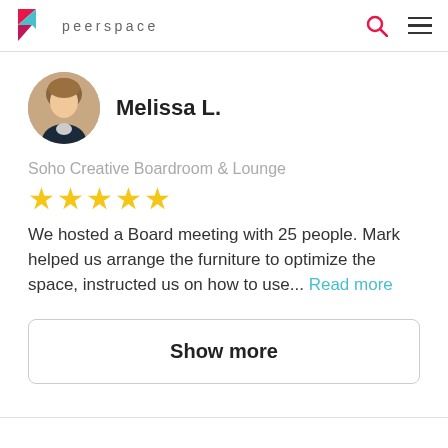peerspace
Melissa L.
Soho Creative Boardroom & Lounge
★★★★★
We hosted a Board meeting with 25 people. Mark helped us arrange the furniture to optimize the space, instructed us on how to use... Read more
Show more